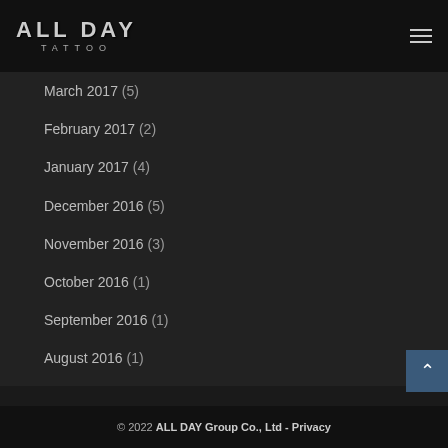ALL DAY TATTOO
March 2017 (5)
February 2017 (2)
January 2017 (4)
December 2016 (5)
November 2016 (3)
October 2016 (1)
September 2016 (1)
August 2016 (1)
© 2022 ALL DAY Group Co., Ltd - Privacy